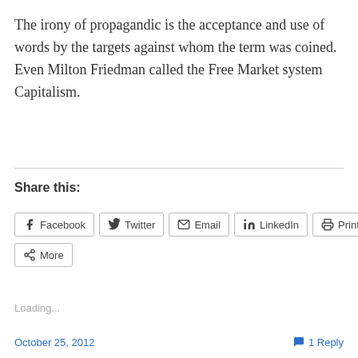The irony of propagandic is the acceptance and use of words by the targets against whom the term was coined. Even Milton Friedman called the Free Market system Capitalism.
Share this:
[Figure (other): Social share buttons: Facebook, Twitter, Email, LinkedIn, Print, More]
Loading...
October 25, 2012   1 Reply